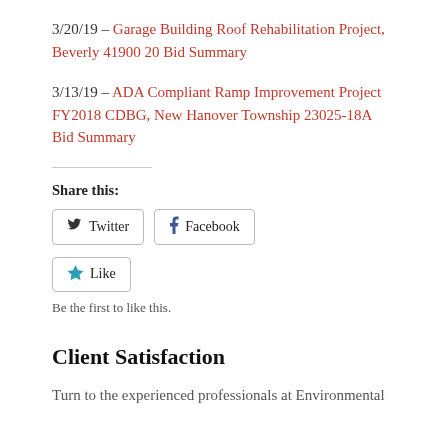3/20/19 – Garage Building Roof Rehabilitation Project, Beverly 41900 20 Bid Summary
3/13/19 – ADA Compliant Ramp Improvement Project FY2018 CDBG, New Hanover Township 23025-18A Bid Summary
Share this:
Twitter  Facebook
Like  Be the first to like this.
Client Satisfaction
Turn to the experienced professionals at Environmental